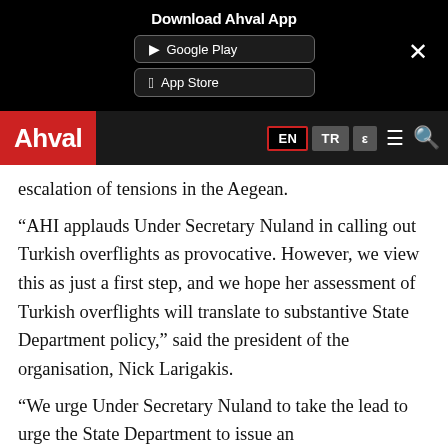Download Ahval App | Google Play | App Store
Ahval | EN | TR | ε
escalation of tensions in the Aegean.
“AHI applauds Under Secretary Nuland in calling out Turkish overflights as provocative. However, we view this as just a first step, and we hope her assessment of Turkish overflights will translate to substantive State Department policy,” said the president of the organisation, Nick Larigakis.
“We urge Under Secretary Nuland to take the lead to urge the State Department to issue an